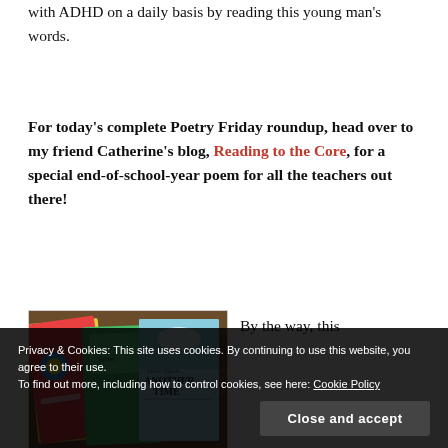with ADHD on a daily basis by reading this young man's words.
For today's complete Poetry Friday roundup, head over to my friend Catherine's blog, Reading to the Core, for a special end-of-school-year poem for all the teachers out there!
[Figure (photo): Stack of children's books on a wooden surface, including one titled 'Once Upon Another Time']
By the way, this
Privacy & Cookies: This site uses cookies. By continuing to use this website, you agree to their use. To find out more, including how to control cookies, see here: Cookie Policy
Close and accept